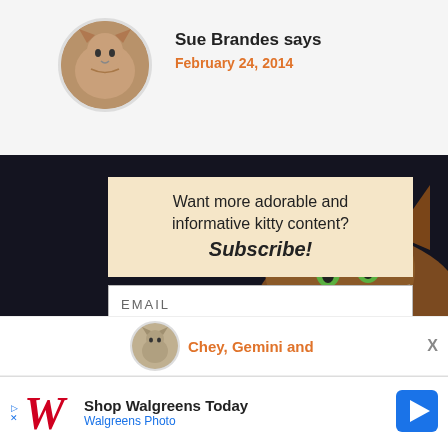[Figure (photo): Circular avatar showing a cat (orange/white) in the upper left area]
Sue Brandes says
February 24, 2014
[Figure (photo): Dark background with a close-up of a brown/tabby cat with green eyes looking up]
Want more adorable and informative kitty content? Subscribe!
EMAIL
Submit
X
Chey, Gemini and
X
Shop Walgreens Today
Walgreens Photo